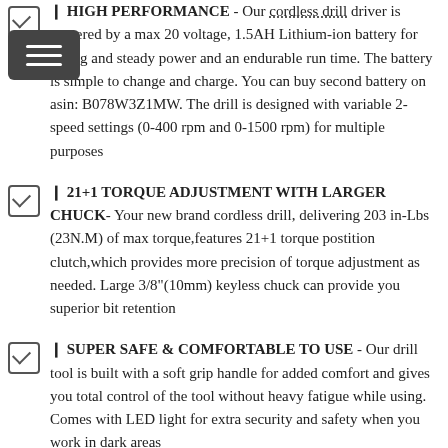🔲 HIGH PERFORMANCE - Our cordless drill driver is powered by a max 20 voltage, 1.5AH Lithium-ion battery for strong and steady power and an endurable run time. The battery is simple to change and charge. You can buy second battery on asin: B078W3Z1MW. The drill is designed with variable 2-speed settings (0-400 rpm and 0-1500 rpm) for multiple purposes
🔲 21+1 TORQUE ADJUSTMENT WITH LARGER CHUCK- Your new brand cordless drill, delivering 203 in-Lbs (23N.M) of max torque,features 21+1 torque postition clutch,which provides more precision of torque adjustment as needed. Large 3/8"(10mm) keyless chuck can provide you superior bit retention
🔲 SUPER SAFE & COMFORTABLE TO USE - Our drill tool is built with a soft grip handle for added comfort and gives you total control of the tool without heavy fatigue while using. Comes with LED light for extra security and safety when you work in dark areas
🔲 ORGANIZED, PORTABLE STORAGE PINK BAG - Your brand new drill tool set can be neatly and tidily organized into our lightweight storage bag. This portable bag is easy to carry allowing you to take